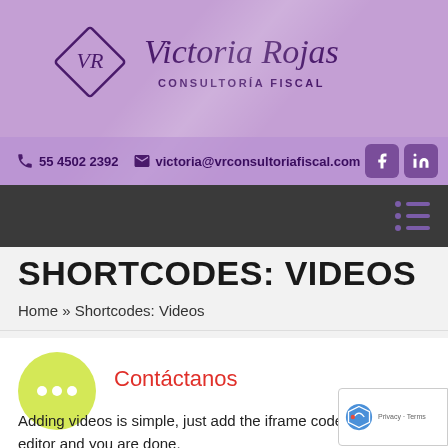[Figure (logo): Victoria Rojas Consultoría Fiscal logo with diamond VR monogram and cursive brand name on purple background]
55 4502 2392  victoria@vrconsultoriafiscal.com
SHORTCODES: VIDEOS
Home » Shortcodes: Videos
Contáctanos
Adding videos is simple, just add the iframe code in Text editor and you are done.